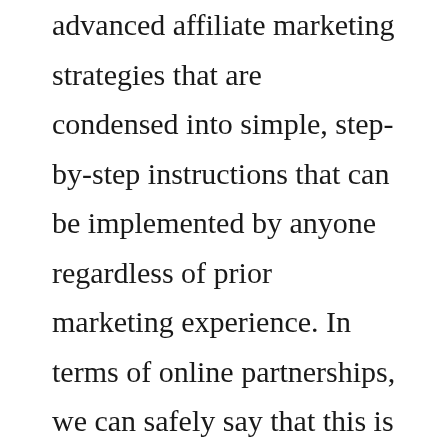advanced affiliate marketing strategies that are condensed into simple, step-by-step instructions that can be implemented by anyone regardless of prior marketing experience. In terms of online partnerships, we can safely say that this is the best one that we have ever come across in the internet marketing space. Therefore, if you too would like to have your own high-quality evergreen webinar funnel provided to you that is already proven to convert into a full-time income, then we highly recommend you to learn more